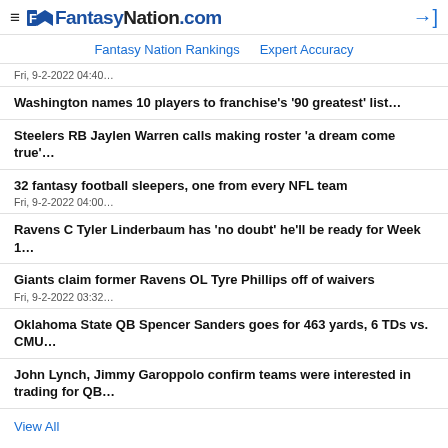≡ FantasyNation.com
Fantasy Nation Rankings   Expert Accuracy
Fri, 9-2-2022 04:40…
Washington names 10 players to franchise's '90 greatest' list…
Steelers RB Jaylen Warren calls making roster 'a dream come true'…
32 fantasy football sleepers, one from every NFL team
Fri, 9-2-2022 04:00…
Ravens C Tyler Linderbaum has 'no doubt' he'll be ready for Week 1…
Giants claim former Ravens OL Tyre Phillips off of waivers
Fri, 9-2-2022 03:32…
Oklahoma State QB Spencer Sanders goes for 463 yards, 6 TDs vs. CMU…
John Lynch, Jimmy Garoppolo confirm teams were interested in trading for QB…
View All